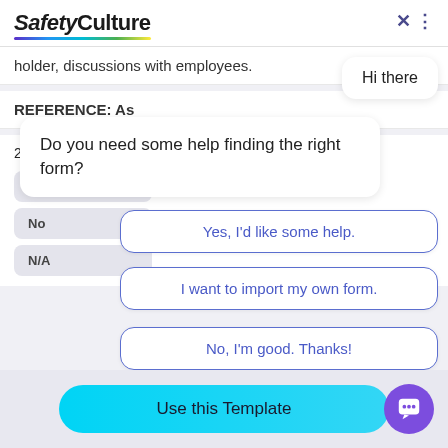SafetyCulture
holder, discussions with employees.
REFERENCE: As
22 - Is there any asbestos
Hi there
Do you need some help finding the right form?
Yes, I'd like some help.
I want to import my own form.
No, I'm good. Thanks!
Yes
No
N/A
Use this Template